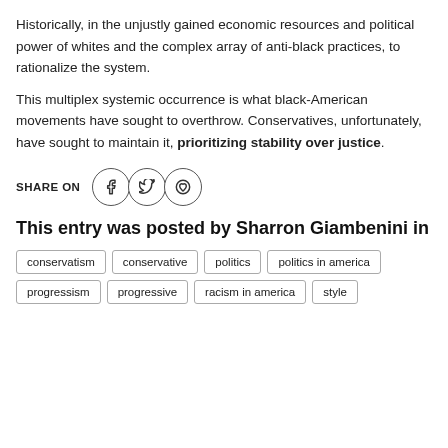Historically, in the unjustly gained economic resources and political power of whites and the complex array of anti-black practices, to rationalize the system.
This multiplex systemic occurrence is what black-American movements have sought to overthrow. Conservatives, unfortunately, have sought to maintain it, prioritizing stability over justice.
SHARE ON [Facebook] [Twitter] [Pinterest]
This entry was posted by Sharron Giambenini in
conservatism
conservative
politics
politics in america
progressism
progressive
racism in america
style